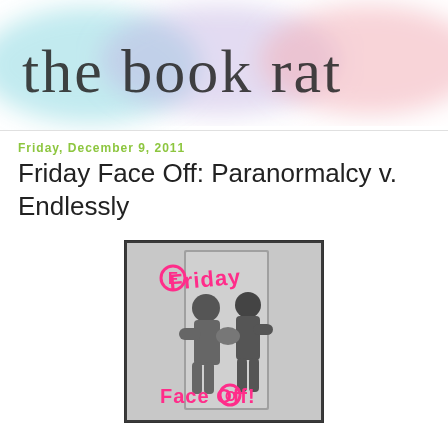[Figure (illustration): Blog header banner with watercolor wash in cyan, purple/lavender, and pink/salmon colors, with cursive handwritten text 'the book rat' in dark ink]
Friday, December 9, 2011
Friday Face Off: Paranormalcy v. Endlessly
[Figure (photo): Black and white photo of two boxers sparring, overlaid with hot pink graffiti-style text reading 'Friday Face Off']